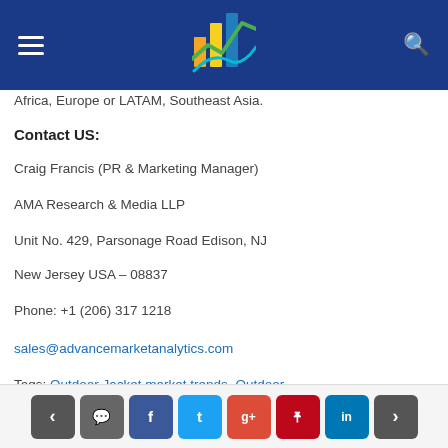[Logo: AMA Research & Media]
Africa, Europe or LATAM, Southeast Asia.
Contact US:
Craig Francis (PR & Marketing Manager)
AMA Research & Media LLP
Unit No. 429, Parsonage Road Edison, NJ
New Jersey USA – 08837
Phone: +1 (206) 317 1218
sales@advancemarketanalytics.com
Tags: Outdoor Jacket market trends, Outdoor
< [comment] [f] [t] [g+] [p] [in] >